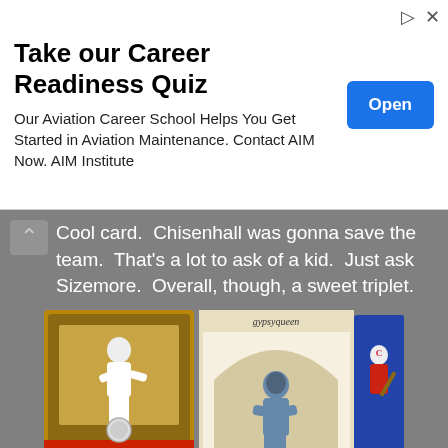[Figure (other): Advertisement banner: 'Take our Career Readiness Quiz' with Open button]
Cool card. Chisenhall was gonna save the team. That's a lot to ask of a kid. Just ask Sizemore. Overall, though, a sweet triplet.
[Figure (photo): Three baseball trading cards side by side: Kosuke Fukudome (2011 Topps Lineage), Gypsy Queen Carlos Santana, and Lonnie Chisenhall]
The last three cards feature a 2011 Topps Lineage Albert "freakin" Belle, 2011 Bowman Platinum Moments Carlos Santana, and a 2011 Topps Jeanmar Gomez. Any time someone sends me a player like Albert Belle, I go bananas. I know, I know, he had his "moments" on and off the field, but you cannot dent his on-field awesomeness. Flat out rockin. The Bowman Santana card is something to behold. Man